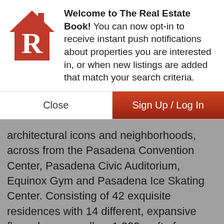[Figure (logo): The Real Estate Book logo: red house shape with white letter R]
Welcome to The Real Estate Book! You can now opt-in to receive instant push notifications about properties you are interested in, or when new listings are added that match your search criteria.
Close
Sign Up / Log In
architectural icons and neighborhoods, across from the Pasadena Convention Center, Pasadena Civic Auditorium, Equinox Gym and Pasadena Ice Skating Center. Consisting of 42 exquisite residences with 14 different, expansive floor plans as well as 1,000 sq ft of commercial space, the 1, 2 and 2.5 bedroom units have high ceilings, a shared lounge/work area overlooking a lush courtyard designed with a focus on sustainability, community--creating a sanctuary for the owners. Inspired by the historical buildings of Old Pasadena,